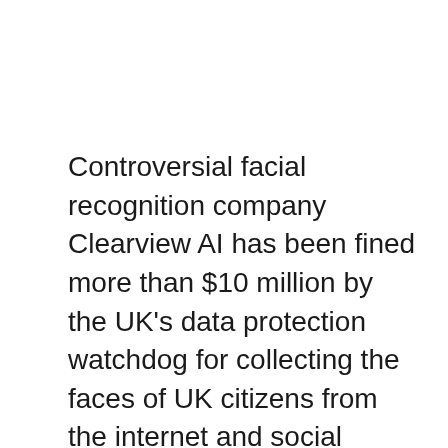Controversial facial recognition company Clearview AI has been fined more than $10 million by the UK's data protection watchdog for collecting the faces of UK citizens from the internet and social media. The company was also ordered to delete all data it has on British citizens.
The move by the UK's Information Commissioner's Office (ICO) is the latest in a series of high-profile fines against the company as data protection authorities around the world impose stricter restrictions